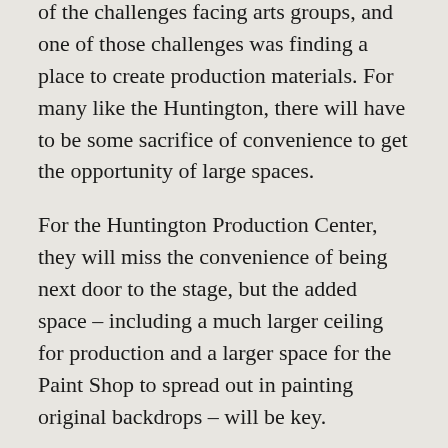of the challenges facing arts groups, and one of those challenges was finding a place to create production materials. For many like the Huntington, there will have to be some sacrifice of convenience to get the opportunity of large spaces.
For the Huntington Production Center, they will miss the convenience of being next door to the stage, but the added space – including a much larger ceiling for production and a larger space for the Paint Shop to spread out in painting original backdrops – will be key.
“It is a little more space and a little more efficiently laid out,” said Ramirez. “You don’t have to go through all the different doors cut through all the different buildings to get where you need to go, but we also will have the fact that there are four shows where the